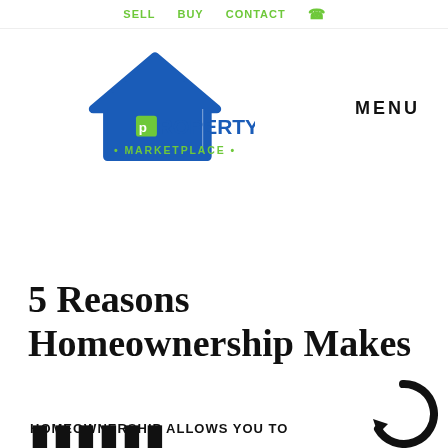SELL   BUY   CONTACT
[Figure (logo): Property Marketplace logo with blue house icon and green dot, blue text PROPERTY MARKETPLACE]
MENU
5 Reasons Homeownership Makes Cents
March 20, 2019
By propmarket
[Figure (infographic): Infographic showing HOMEOWNERSHIP ALLOWS YOU TO with large bold letters below and a circular arrow graphic on the right]